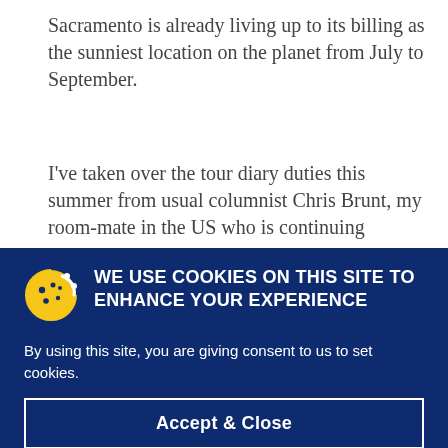Sacramento is already living up to its billing as the sunniest location on the planet from July to September.
I've taken over the tour diary duties this summer from usual columnist Chris Brunt, my room-mate in the US who is continuing
WE USE COOKIES ON THIS SITE TO ENHANCE YOUR EXPERIENCE
By using this site, you are giving consent to us to set cookies.
Accept & Close